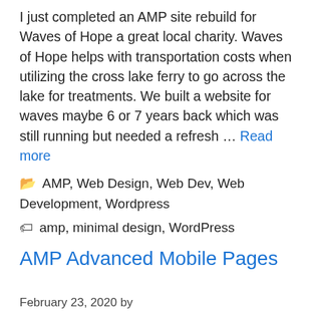I just completed an AMP site rebuild for Waves of Hope a great local charity. Waves of Hope helps with transportation costs when utilizing the cross lake ferry to go across the lake for treatments. We built a website for waves maybe 6 or 7 years back which was still running but needed a refresh … Read more
Categories: AMP, Web Design, Web Dev, Web Development, Wordpress
Tags: amp, minimal design, WordPress
AMP Advanced Mobile Pages
February 23, 2020 by